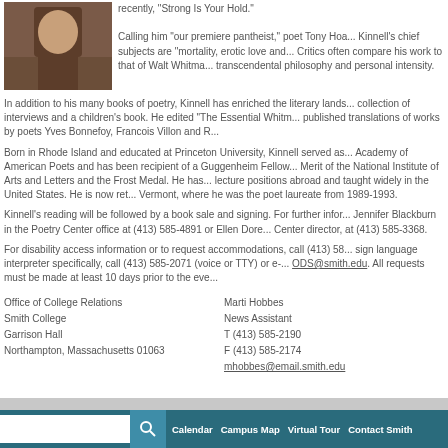[Figure (photo): Photo of Galway Kinnell, close-up shot against earth/soil background]
recently, "Strong Is Your Hold."

Calling him "our premiere pantheist," poet Tony Hoa... Kinnell's chief subjects are "mortality, erotic love and... Critics often compare his work to that of Walt Whitma... transcendental philosophy and personal intensity.
In addition to his many books of poetry, Kinnell has enriched the literary lands... collection of interviews and a children's book. He edited "The Essential Whitm... published translations of works by poets Yves Bonnefoy, Francois Villon and R...
Born in Rhode Island and educated at Princeton University, Kinnell served as... Academy of American Poets and has been recipient of a Guggenheim Fellow... Merit of the National Institute of Arts and Letters and the Frost Medal. He has... lecture positions abroad and taught widely in the United States. He is now ret... Vermont, where he was the poet laureate from 1989-1993.
Kinnell's reading will be followed by a book sale and signing. For further infor... Jennifer Blackburn in the Poetry Center office at (413) 585-4891 or Ellen Dore... Center director, at (413) 585-3368.
For disability access information or to request accommodations, call (413) 58... sign language interpreter specifically, call (413) 585-2071 (voice or TTY) or e-... ODS@smith.edu. All requests must be made at least 10 days prior to the eve...
Office of College Relations
Smith College
Garrison Hall
Northampton, Massachusetts 01063
Marti Hobbes
News Assistant
T (413) 585-2190
F (413) 585-2174
mhobbes@email.smith.edu